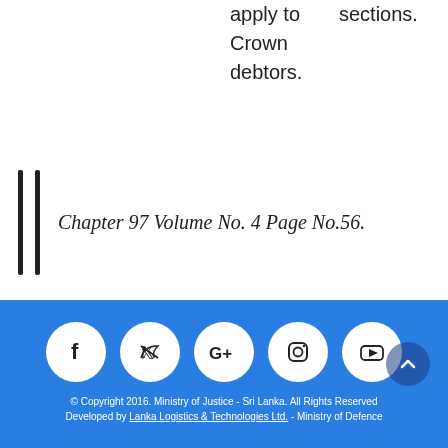apply to    sections.
Crown
debtors.
Chapter 97 Volume No. 4 Page No.56.
© Copyright 2016. Ministry of Justice - Sri Lanka. All Rights Reserved
Developed by Lanka Logistics & Technologies Ltd. - Ministry of Defence